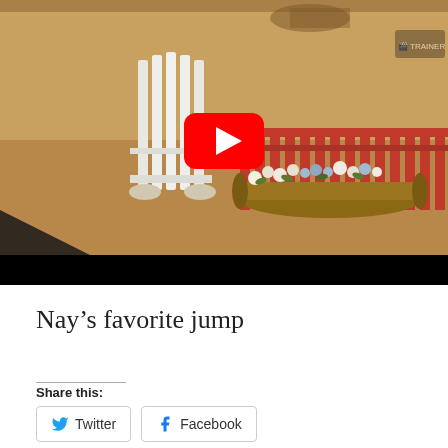[Figure (screenshot): YouTube video thumbnail showing a horse jumping arena with white picket fence jump obstacle and red barrier with flowers. Sandy ground visible. Large red YouTube play button overlay in center. Watermark visible in top right corner.]
Nay’s favorite jump
Share this:
Twitter Facebook